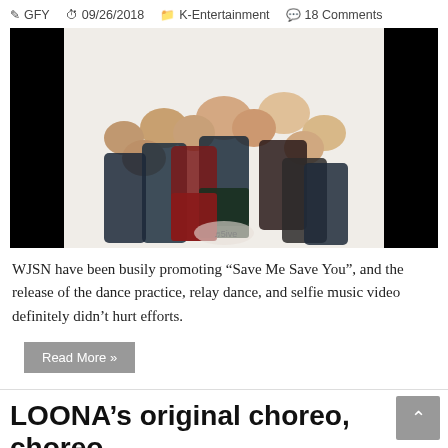GFY  09/26/2018  K-Entertainment  18 Comments
[Figure (photo): Group photo of WJSN (K-pop girl group) posing together in school uniform-style outfits including plaid skirts and blazers, on a white background with black borders on left and right sides.]
WJSN have been busily promoting “Save Me Save You”, and the release of the dance practice, relay dance, and selfie music video definitely didn’t hurt efforts.
Read More »
LOONA’s original choreo, choreo, relay dance, and selfie music video